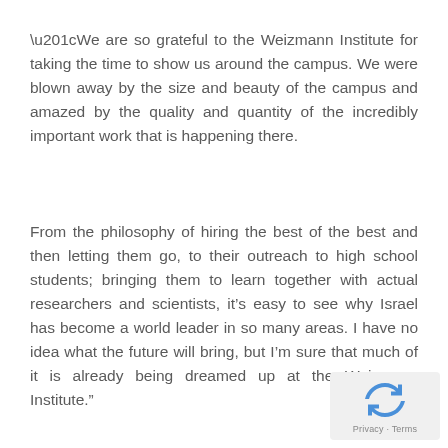“We are so grateful to the Weizmann Institute for taking the time to show us around the campus. We were blown away by the size and beauty of the campus and amazed by the quality and quantity of the incredibly important work that is happening there.
From the philosophy of hiring the best of the best and then letting them go, to their outreach to high school students; bringing them to learn together with actual researchers and scientists, it’s easy to see why Israel has become a world leader in so many areas. I have no idea what the future will bring, but I’m sure that much of it is already being dreamed up at the Weizmann Institute.”
[Figure (logo): reCAPTCHA logo with Privacy and Terms text]